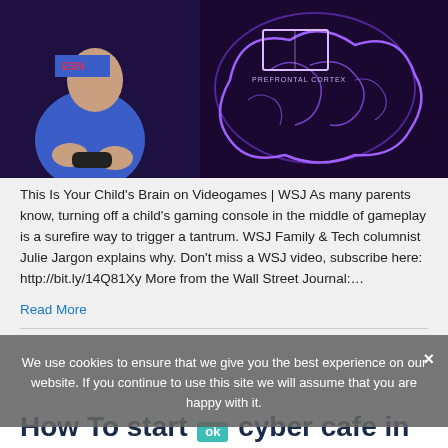[Figure (photo): Screenshot of a WSJ video thumbnail showing a person playing video games on the left and a glowing purple brain diagram with 'PREFRONTAL CORTEX' label on the right, against a dark purple background.]
This Is Your Child's Brain on Videogames | WSJ As many parents know, turning off a child's gaming console in the middle of gameplay is a surefire way to trigger a tantrum. WSJ Family & Tech columnist Julie Jargon explains why. Don't miss a WSJ video, subscribe here: http://bit.ly/14Q81Xy More from the Wall Street Journal:…
Read More
We use cookies to ensure that we give you the best experience on our website. If you continue to use this site we will assume that you are happy with it.
How To start a cyber cafe in K...